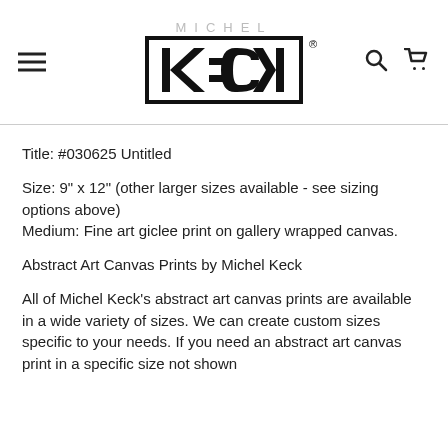MICHEL KECK (logo with hamburger menu, search icon, and cart icon)
Title: #030625 Untitled

Size: 9" x 12" (other larger sizes available - see sizing options above)
Medium: Fine art giclee print on gallery wrapped canvas.

Abstract Art Canvas Prints by Michel Keck

All of Michel Keck's abstract art canvas prints are available in a wide variety of sizes. We can create custom sizes specific to your needs. If you need an abstract art canvas print in a specific size not shown in this listing, please do not hesitate to place an order...